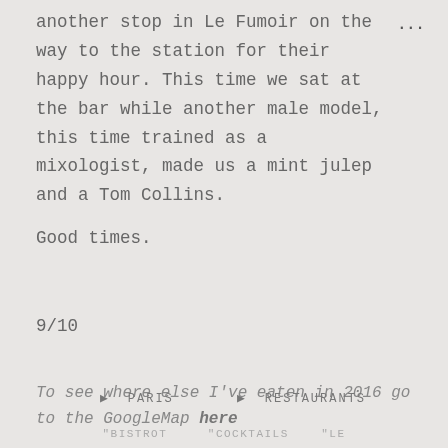another stop in Le Fumoir on the way to the station for their happy hour. This time we sat at the bar while another male model, this time trained as a mixologist, made us a mint julep and a Tom Collins.
Good times.
9/10
To see where else I've eaten in 2016 go to the GoogleMap here
PARIS   RESTAURANTS
"BISTROT   "COCKTAILS   "LE